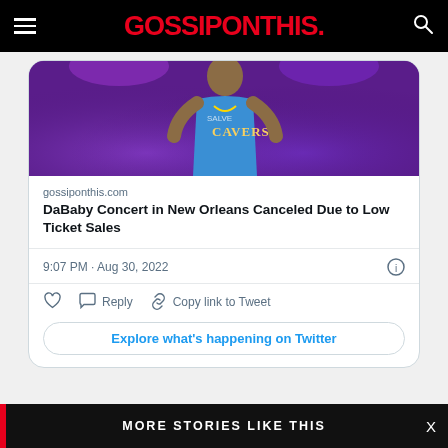GOSSIPONTHIS.
[Figure (screenshot): Screenshot of a tweet card embedded on gossiponthis.com showing a DaBaby concert image with purple stage lighting, article preview link, timestamp, and Twitter action buttons]
gossiponthis.com
DaBaby Concert in New Orleans Canceled Due to Low Ticket Sales
9:07 PM · Aug 30, 2022
Reply   Copy link to Tweet
Explore what's happening on Twitter
MORE STORIES LIKE THIS